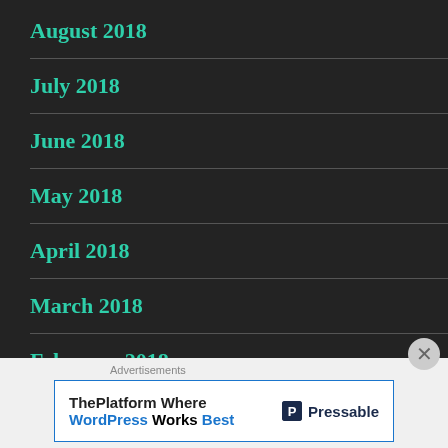August 2018
July 2018
June 2018
May 2018
April 2018
March 2018
February 2018
Advertisements
ThePlatform Where WordPress Works Best
[Figure (logo): Pressable logo with letter P in dark navy square followed by Pressable text]